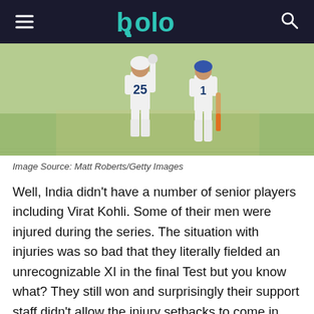bolo (logo) — navigation header
[Figure (photo): Two cricket players in white uniforms on a field, one wearing number 25, celebrating]
Image Source: Matt Roberts/Getty Images
Well, India didn't have a number of senior players including Virat Kohli. Some of their men were injured during the series. The situation with injuries was so bad that they literally fielded an unrecognizable XI in the final Test but you know what? They still won and surprisingly their support staff didn't allow the injury setbacks to come in way to demoralize a young side. Their senior and junior batsmen were hit by the Aussie bowlers throughout the series and their young bowling side was too made to toil in the field. However, they kept coming